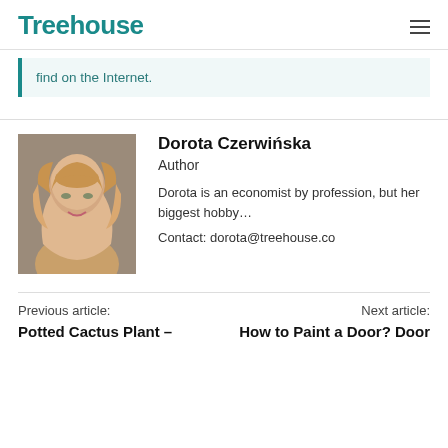Treehouse
find on the Internet.
[Figure (photo): Portrait photo of Dorota Czerwińska, a woman with long blonde hair, smiling, against a grey background.]
Dorota Czerwińska
Author
Dorota is an economist by profession, but her biggest hobby...
Contact: dorota@treehouse.co
Previous article:
Potted Cactus Plant –
Next article:
How to Paint a Door? Door